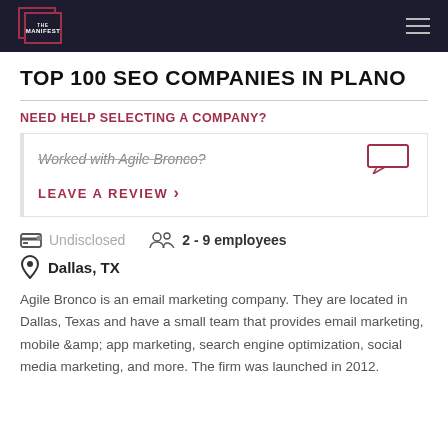THE MANIFEST
TOP 100 SEO COMPANIES IN PLANO
NEED HELP SELECTING A COMPANY?
Worked with Agile Bronco?
LEAVE A REVIEW >
Undisclosed   2 - 9 employees
Dallas, TX
Agile Bronco is an email marketing company. They are located in Dallas, Texas and have a small team that provides email marketing, mobile &amp; app marketing, search engine optimization, social media marketing, and more. The firm was launched in 2012.